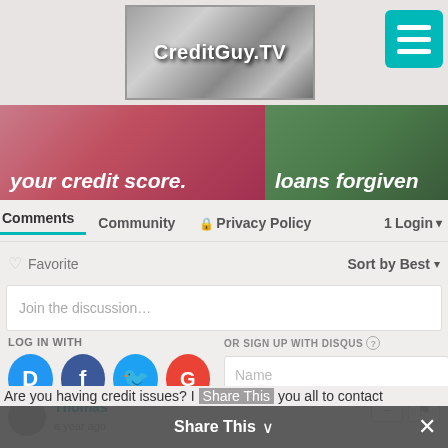[Figure (screenshot): CreditGuy.TV website header with logo on diamond-plate background and teal menu button]
[Figure (photo): Banner images: left shows 'your credit score.' on pink/red background, right shows 'loans forgiven' on green background]
Comments  Community  Privacy Policy  Login
Favorite  Sort by Best
Join the discussion…
LOG IN WITH
OR SIGN UP WITH DISQUS
Name
Thomas
a year ago
Are you having credit issues? I Share This you all to contact
Share This